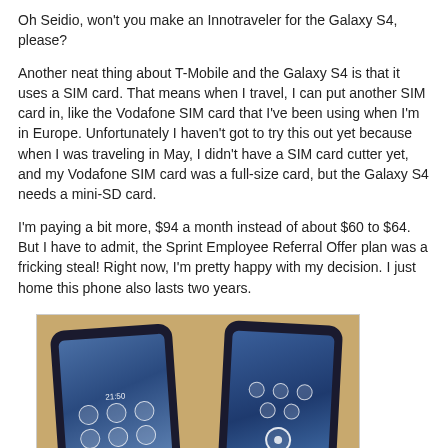Oh Seidio, won't you make an Innotraveler for the Galaxy S4, please?
Another neat thing about T-Mobile and the Galaxy S4 is that it uses a SIM card. That means when I travel, I can put another SIM card in, like the Vodafone SIM card that I've been using when I'm in Europe. Unfortunately I haven't got to try this out yet because when I was traveling in May, I didn't have a SIM card cutter yet, and my Vodafone SIM card was a full-size card, but the Galaxy S4 needs a mini-SD card.
I'm paying a bit more, $94 a month instead of about $60 to $64. But I have to admit, the Sprint Employee Referral Offer plan was a fricking steal! Right now, I'm pretty happy with my decision. I just home this phone also lasts two years.
[Figure (photo): Two smartphones side by side on a tan/yellow background. The left phone shows a home screen with app icons arranged in rows with circular outlines. The right phone shows a lock screen. Both phones have dark frames.]